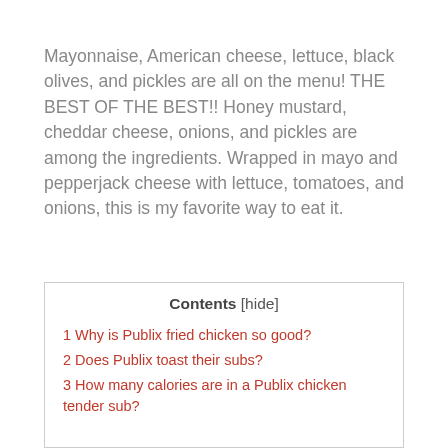Mayonnaise, American cheese, lettuce, black olives, and pickles are all on the menu! THE BEST OF THE BEST!! Honey mustard, cheddar cheese, onions, and pickles are among the ingredients. Wrapped in mayo and pepperjack cheese with lettuce, tomatoes, and onions, this is my favorite way to eat it.
| Contents [hide] |
| 1 Why is Publix fried chicken so good? |
| 2 Does Publix toast their subs? |
| 3 How many calories are in a Publix chicken tender sub? |